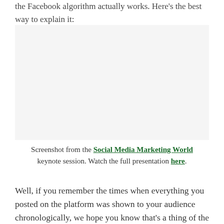the Facebook algorithm actually works. Here's the best way to explain it:
[Figure (screenshot): Screenshot placeholder area from Social Media Marketing World keynote session]
Screenshot from the Social Media Marketing World keynote session. Watch the full presentation here.
Well, if you remember the times when everything you posted on the platform was shown to your audience chronologically, we hope you know that's a thing of the